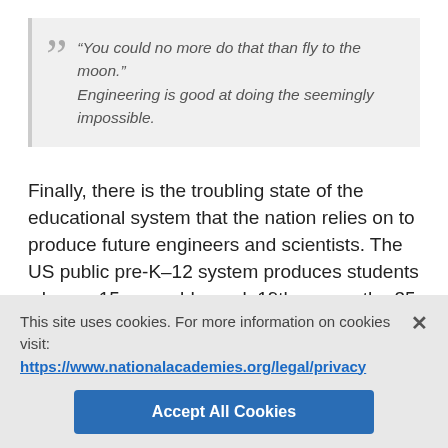“You could no more do that than fly to the moon.” Engineering is good at doing the seemingly impossible.
Finally, there is the troubling state of the educational system that the nation relies on to produce future engineers and scientists. The US public pre-K–12 system produces students who, as 15-year-olds, rank 19th among the 35 OECD nations in science and 31st in mathematics.[1] Interest in careers in engineering among America’s youth is such that the fraction of baccalaureate degrees awarded in the field of engineering ranks the United States 76th among nations
This site uses cookies. For more information on cookies visit: https://www.nationalacademies.org/legal/privacy
Accept All Cookies